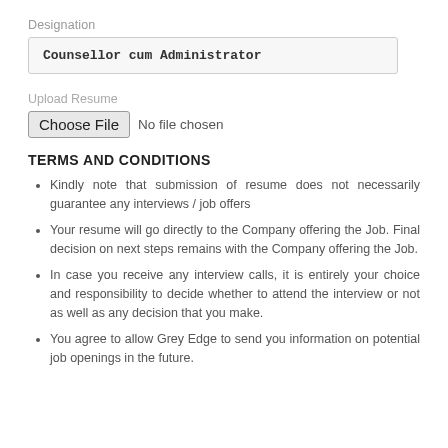Designation
Counsellor cum Administrator
Upload Resume
Choose File  No file chosen
TERMS AND CONDITIONS
Kindly note that submission of resume does not necessarily guarantee any interviews / job offers
Your resume will go directly to the Company offering the Job. Final decision on next steps remains with the Company offering the Job.
In case you receive any interview calls, it is entirely your choice and responsibility to decide whether to attend the interview or not as well as any decision that you make.
You agree to allow Grey Edge to send you information on potential job openings in the future.